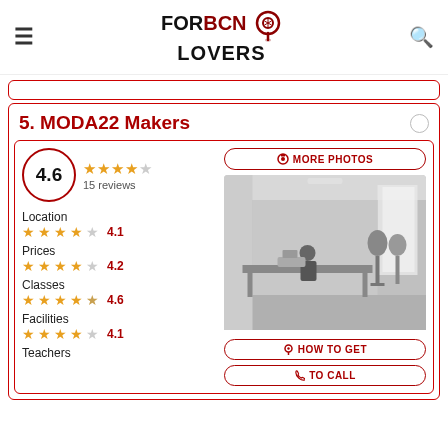FORBCN LOVERS
5. MODA22 Makers
4.6 — 15 reviews
Location 4.1
Prices 4.2
Classes 4.6
Facilities 4.1
Teachers
[Figure (photo): Black and white interior photo of a sewing/fashion studio with mannequins and a person working at a table]
MORE PHOTOS
HOW TO GET
TO CALL